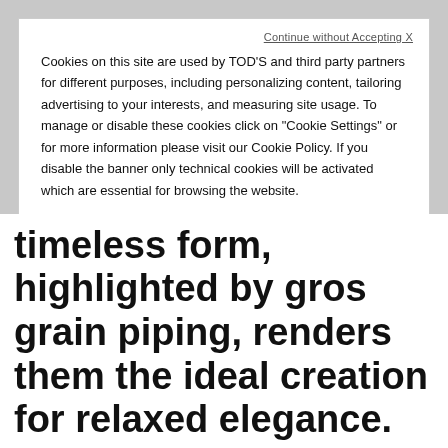Continue without Accepting X
Cookies on this site are used by TOD'S and third party partners for different purposes, including personalizing content, tailoring advertising to your interests, and measuring site usage. To manage or disable these cookies click on "Cookie Settings" or for more information please visit our Cookie Policy. If you disable the banner only technical cookies will be activated which are essential for browsing the website.
Cookie Policy - Cookie Settings
Accept All Cookies
timeless form, highlighted by gros grain piping, renders them the ideal creation for relaxed elegance.